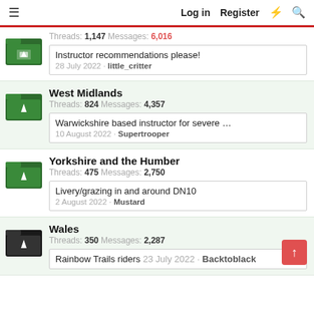Log in  Register
Threads: 1,147 Messages: 6,016 | Instructor recommendations please! | 28 July 2022 · little_critter
West Midlands | Threads: 824 Messages: 4,357 | Warwickshire based instructor for severe confidence issu... | 10 August 2022 · Supertrooper
Yorkshire and the Humber | Threads: 475 Messages: 2,750 | Livery/grazing in and around DN10 | 2 August 2022 · Mustard
Wales | Threads: 350 Messages: 2,287 | Rainbow Trails riders 23 July 2022 · Backtoblack